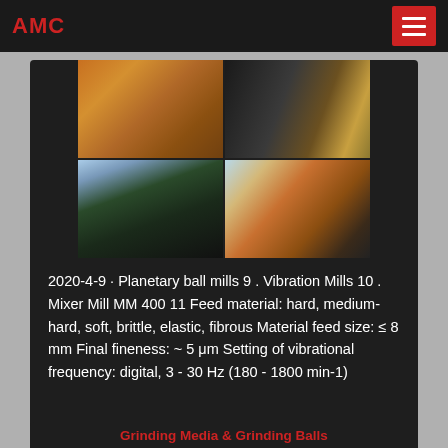AMC
[Figure (photo): Four-panel grid of industrial mining/crushing equipment photos: top-left shows orange conveyor/crusher structure, top-right shows dark excavated rock with a crane/loader, bottom-left shows a large dark gravel/aggregate pile with blue sky, bottom-right shows an industrial crushing plant facility with conveyors.]
2020-4-9 · Planetary ball mills 9 . Vibration Mills 10 . Mixer Mill MM 400 11 Feed material: hard, medium-hard, soft, brittle, elastic, fibrous Material feed size: ≤ 8 mm Final fineness: ~ 5 μm Setting of vibrational frequency: digital, 3 - 30 Hz (180 - 1800 min-1)
Grinding Media & Grinding Balls